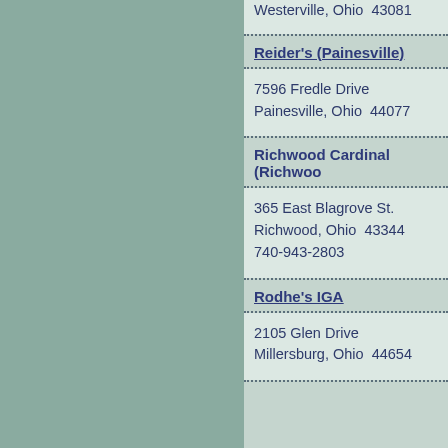Westerville, Ohio  43081
Reider's (Painesville)
7596 Fredle Drive
Painesville, Ohio  44077
Richwood Cardinal (Richwood)
365 East Blagrove St.
Richwood, Ohio  43344
740-943-2803
Rodhe's IGA
2105 Glen Drive
Millersburg, Ohio  44654